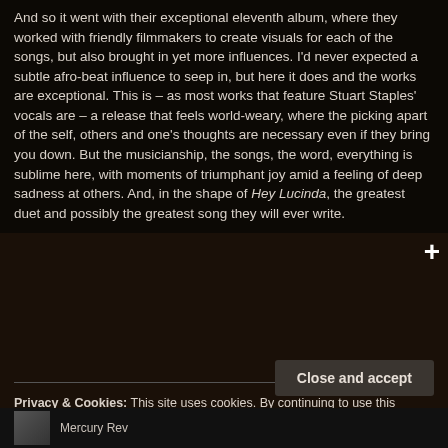And so it went with their exceptional eleventh album, where they worked with friendly filmmakers to create visuals for each of the songs, but also brought in yet more influences. I'd never expected a subtle afro-beat influence to seep in, but here it does and the works are exceptional. This is – as most works that feature Stuart Staples' vocals are – a release that feels world-weary, where the picking apart of the self, others and one's thoughts are necessary even if they bring you down. But the musicianship, the songs, the word, everything is sublime here, with moments of triumphant joy amid a feeling of deep sadness at others. And, in the shape of Hey Lucinda, the greatest duet and possibly the greatest song they will ever write.
Privacy & Cookies: This site uses cookies. By continuing to use this website, you agree to their use.
To find out more, including how to control cookies, see here: Cookie Policy
Close and accept
Mercury Rev